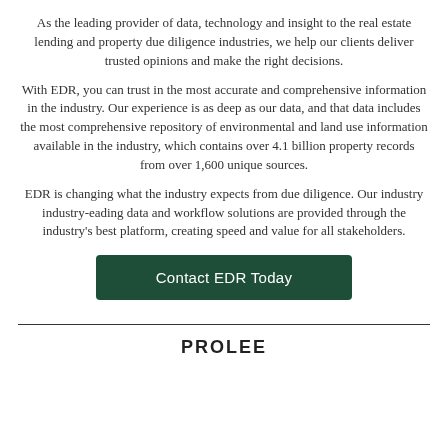As the leading provider of data, technology and insight to the real estate lending and property due diligence industries, we help our clients deliver trusted opinions and make the right decisions.
With EDR, you can trust in the most accurate and comprehensive information in the industry. Our experience is as deep as our data, and that data includes the most comprehensive repository of environmental and land use information available in the industry, which contains over 4.1 billion property records from over 1,600 unique sources.
EDR is changing what the industry expects from due diligence. Our industry industry-eading data and workflow solutions are provided through the industry's best platform, creating speed and value for all stakeholders.
[Figure (other): Dark green button labeled 'Contact EDR Today']
PROLEE